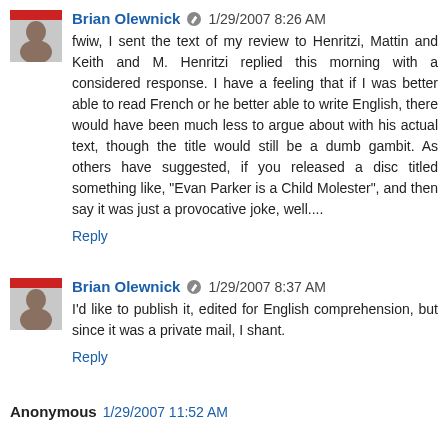Brian Olewnick · 1/29/2007 8:26 AM
fwiw, I sent the text of my review to Henritzi, Mattin and Keith and M. Henritzi replied this morning with a considered response. I have a feeling that if I was better able to read French or he better able to write English, there would have been much less to argue about with his actual text, though the title would still be a dumb gambit. As others have suggested, if you released a disc titled something like, "Evan Parker is a Child Molester", and then say it was just a provocative joke, well....
Reply
Brian Olewnick · 1/29/2007 8:37 AM
I'd like to publish it, edited for English comprehension, but since it was a private mail, I shant.
Reply
Anonymous 1/29/2007 11:52 AM